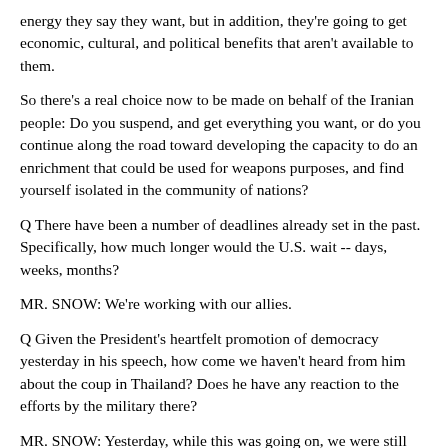energy they say they want, but in addition, they're going to get economic, cultural, and political benefits that aren't available to them.
So there's a real choice now to be made on behalf of the Iranian people: Do you suspend, and get everything you want, or do you continue along the road toward developing the capacity to do an enrichment that could be used for weapons purposes, and find yourself isolated in the community of nations?
Q There have been a number of deadlines already set in the past. Specifically, how much longer would the U.S. wait -- days, weeks, months?
MR. SNOW: We're working with our allies.
Q Given the President's heartfelt promotion of democracy yesterday in his speech, how come we haven't heard from him about the coup in Thailand? Does he have any reaction to the efforts by the military there?
MR. SNOW: Yesterday, while this was going on, we were still trying to gather facts on the ground. We're disappointed in the coup. We hope those who mounted it will make good, and make good swiftly, on their promises to restore democracy. And by restoring democracy not only means elected governments, but